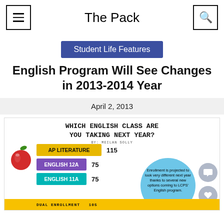The Pack
Student Life Features
English Program Will See Changes in 2013-2014 Year
April 2, 2013
[Figure (infographic): Infographic titled 'WHICH ENGLISH CLASS ARE YOU TAKING NEXT YEAR?' by Meilan Solly. Shows bar chart with AP Literature 115, English 12A 75, English 11A 75. Bubble text: 'Enrollment is projected to look very different next year thanks to several new options coming to LCPS' English program. Numbers = amount of']